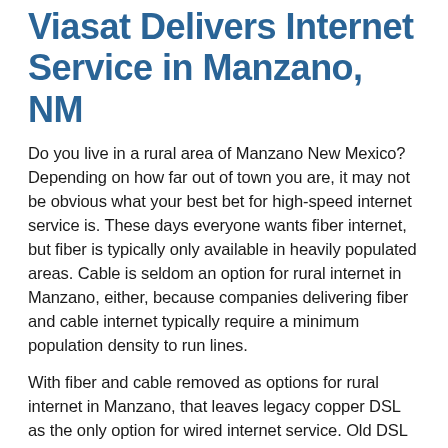Viasat Delivers Internet Service in Manzano, NM
Do you live in a rural area of Manzano New Mexico? Depending on how far out of town you are, it may not be obvious what your best bet for high-speed internet service is. These days everyone wants fiber internet, but fiber is typically only available in heavily populated areas. Cable is seldom an option for rural internet in Manzano, either, because companies delivering fiber and cable internet typically require a minimum population density to run lines.
With fiber and cable removed as options for rural internet in Manzano, that leaves legacy copper DSL as the only option for wired internet service. Old DSL lines are notorious for slow internet, and the farther your home is from a hub, the worse your DSL service will be. What is a rural internet customer to do? Take a look at Viasat satellite internet, offering Viasat-2 plans in Manzano with high speed download speeds and data.